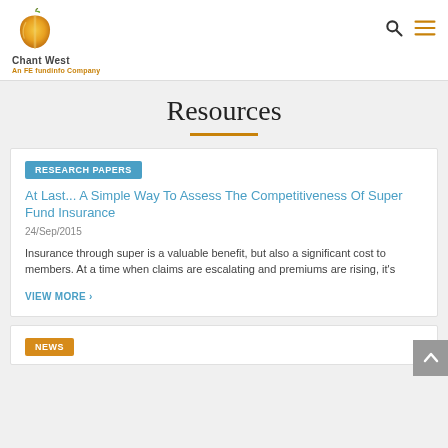Chant West — An FE fundinfo Company
Resources
RESEARCH PAPERS
At Last... A Simple Way To Assess The Competitiveness Of Super Fund Insurance
24/Sep/2015
Insurance through super is a valuable benefit, but also a significant cost to members. At a time when claims are escalating and premiums are rising, it's
VIEW MORE ›
NEWS